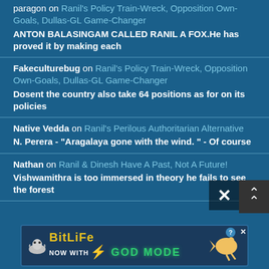paragon on Ranil's Policy Train-Wreck, Opposition Own-Goals, Dullas-GL Game-Changer
ANTON BALASINGAM CALLED RANIL A FOX.He has proved it by making each
Fakeculturebug on Ranil's Policy Train-Wreck, Opposition Own-Goals, Dullas-GL Game-Changer
Dosent the country also take 64 positions as for on its policies
Native Vedda on Ranil's Perilous Authoritarian Alternative
N. Perera - "Aragalaya gone with the wind. " - Of course
Nathan on Ranil & Dinesh Have A Past, Not A Future!
Vishwamithra is too immersed in theory he fails to see the forest
[Figure (screenshot): BitLife advertisement banner — 'BitLife NOW WITH GOD MODE' with snail logo, lightning bolt, and pointing hand graphic]